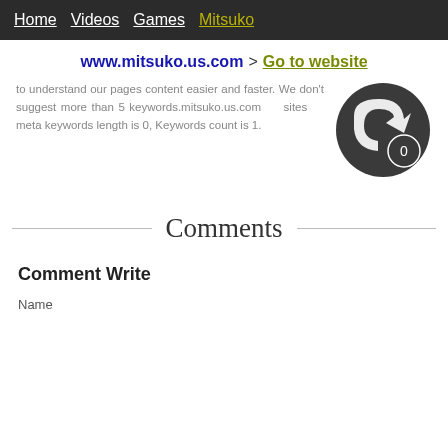Home  Videos  Games  Mitsuko
www.mitsuko.us.com > Go to website
to understand our pages content easier and faster. We don't suggest more than 5 keywords.mitsuko.us.com sites meta keywords length is 0, Keywords count is 1.
[Figure (illustration): Dark circular icon with a curved arrow and a small badge showing the number 0]
Comments
Comment Write
Name